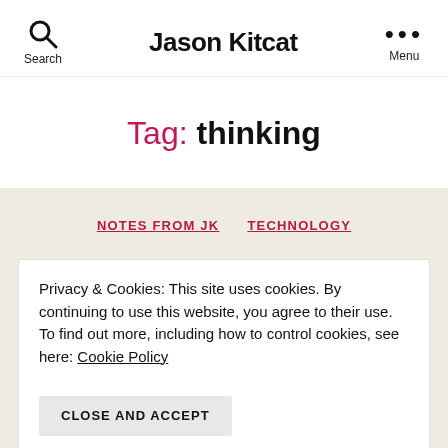Search  Jason Kitcat  Menu
Tag: thinking
NOTES FROM JK   TECHNOLOGY
Privacy & Cookies: This site uses cookies. By continuing to use this website, you agree to their use. To find out more, including how to control cookies, see here: Cookie Policy
CLOSE AND ACCEPT